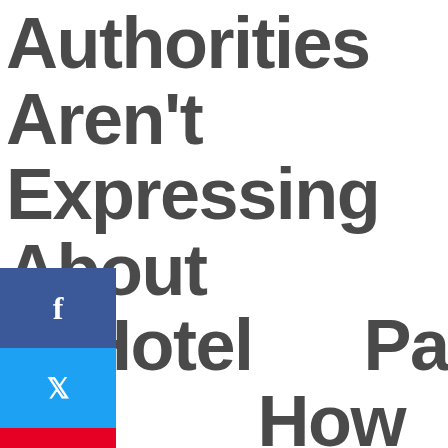Authorities Aren't Expressing About Hotel Packages And How It Affects You
ed On : 09/01/2021    Published By : Helen Meserve
[Figure (photo): Bottom portion of a hotel room photo showing wooden furniture and a window with blue sky, partially visible at the bottom of the page]